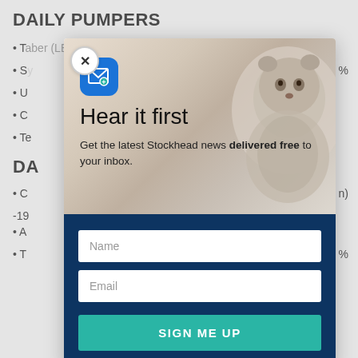DAILY PUMPERS
• Taber (LEO) (market cap US$5.4 billion) +9%
• Sy ... %
• U ...
• C ...
• Te ...
DA...
• C ... (n) -19...
• A ...
• Th ... %
[Figure (screenshot): Email newsletter signup modal popup with 'Hear it first' headline, Stockhead branding, email icon, groundhog image background, Name and Email input fields, and SIGN ME UP button on dark navy background.]